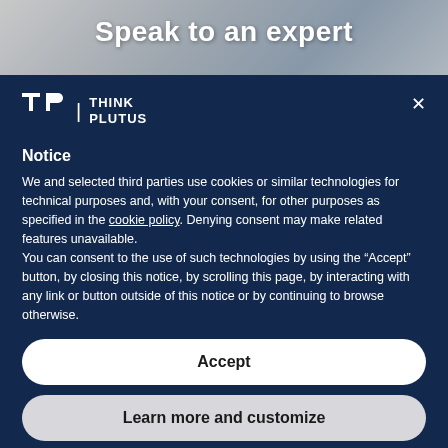Speak to an expert
[Figure (logo): Think Plutus logo — stylized T-P monogram followed by vertical bar and 'THINK PLUTUS' text]
Notice
We and selected third parties use cookies or similar technologies for technical purposes and, with your consent, for other purposes as specified in the cookie policy. Denying consent may make related features unavailable.
You can consent to the use of such technologies by using the “Accept” button, by closing this notice, by scrolling this page, by interacting with any link or button outside of this notice or by continuing to browse otherwise.
Accept
Learn more and customize